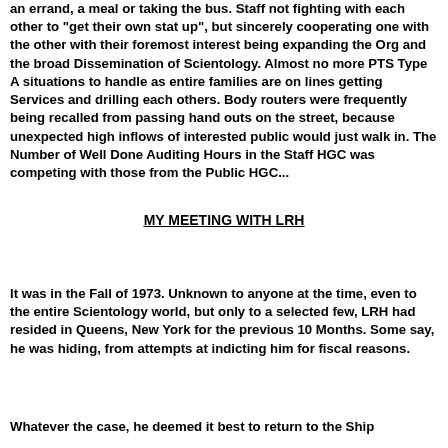an errand, a meal or taking the bus. Staff not fighting with each other to "get their own stat up", but sincerely cooperating one with the other with their foremost interest being expanding the Org and the broad Dissemination of Scientology. Almost no more PTS Type A situations to handle as entire families are on lines getting Services and drilling each others. Body routers were frequently being recalled from passing hand outs on the street, because unexpected high inflows of interested public would just walk in. The Number of Well Done Auditing Hours in the Staff HGC was competing with those from the Public HGC...
MY MEETING WITH LRH
It was in the Fall of 1973. Unknown to anyone at the time, even to the entire Scientology world, but only to a selected few, LRH had resided in Queens, New York for the previous 10 Months. Some say, he was hiding, from attempts at indicting him for fiscal reasons.
Whatever the case, he deemed it best to return to the Ship